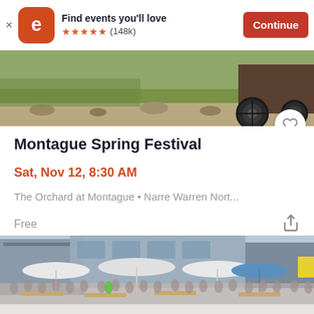Find events you'll love ★★★★★ (148k) Continue
[Figure (photo): Top banner image showing outdoor orchard/farm scene with truck wheel visible on right side]
Montague Spring Festival
Sat, Nov 12, 8:30 AM
The Orchard at Montague • Narre Warren Nort...
Free
[Figure (photo): Outdoor festival scene with crowds of people seated at picnic tables under white umbrellas, with industrial/warehouse buildings in background]